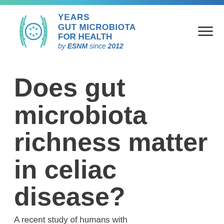[Figure (logo): 10 Years Gut Microbiota for Health by ESNM since 2012 logo with circular decorative icon]
Does gut microbiota richness matter in celiac disease?
A recent study of humans with